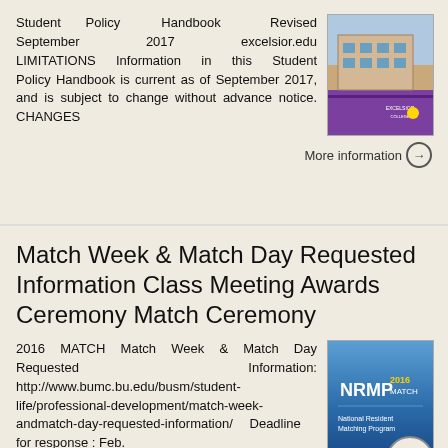Student Policy Handbook Revised September 2017 excelsior.edu LIMITATIONS Information in this Student Policy Handbook is current as of September 2017, and is subject to change without advance notice. CHANGES
[Figure (photo): Thumbnail of Student Policy Handbook cover showing a building exterior and purple banner]
More information →
Match Week & Match Day Requested Information Class Meeting Awards Ceremony Match Ceremony
2016 MATCH Match Week & Match Day Requested Information: http://www.bumc.bu.edu/busm/student-life/professional-development/match-week-andmatch-day-requested-information/ Deadline for response : Feb.
[Figure (photo): NRMP 2016 Match cover image with blue gradient background and NRMP logo]
More information →